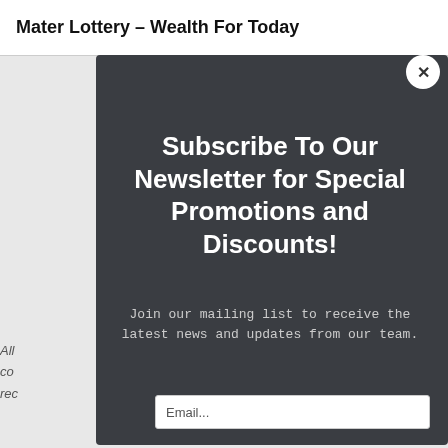Mater Lottery – Wealth For Today
Subscribe To Our Newsletter for Special Promotions and Discounts!
Join our mailing list to receive the latest news and updates from our team.
All ... m co... rec...
Email...